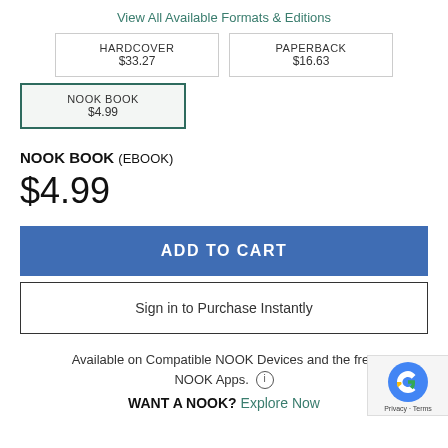View All Available Formats & Editions
HARDCOVER $33.27
PAPERBACK $16.63
NOOK BOOK $4.99 (selected)
NOOK BOOK (EBOOK)
$4.99
ADD TO CART
Sign in to Purchase Instantly
Available on Compatible NOOK Devices and the free NOOK Apps.
WANT A NOOK? Explore Now